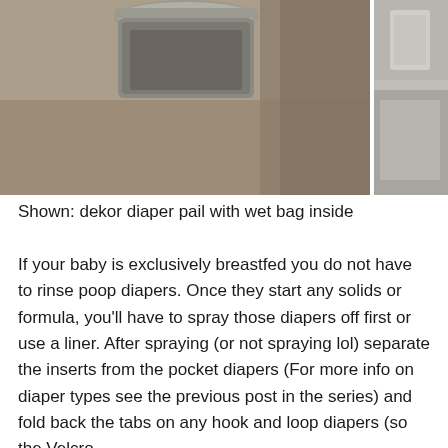[Figure (photo): Two photos side by side: left photo shows a dekor diaper pail with a wet bag inside on a carpeted floor with brown fabric nearby; right photo shows a partial view of what appears to be a container or pail on a shelf.]
Shown: dekor diaper pail with wet bag inside
If your baby is exclusively breastfed you do not have to rinse poop diapers. Once they start any solids or formula, you'll have to spray those diapers off first or use a liner. After spraying (or not spraying lol) separate the inserts from the pocket diapers (For more info on diaper types see the previous post in the series) and fold back the tabs on any hook and loop diapers (so the Velcro